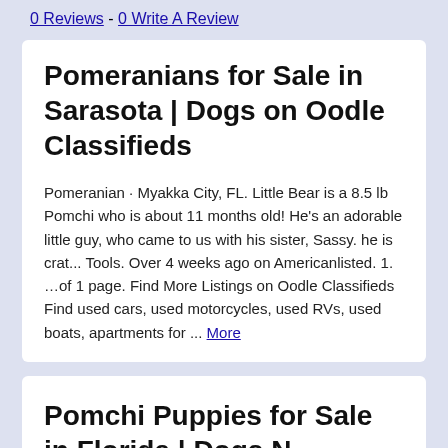0 Reviews - 0 Write A Review
Pomeranians for Sale in Sarasota | Dogs on Oodle Classifieds
Pomeranian · Myakka City, FL. Little Bear is a 8.5 lb Pomchi who is about 11 months old! He's an adorable little guy, who came to us with his sister, Sassy. he is crat... Tools. Over 4 weeks ago on Americanlisted. 1. …of 1 page. Find More Listings on Oodle Classifieds Find used cars, used motorcycles, used RVs, used boats, apartments for ... More
Pomchi Puppies for Sale in Florida | Dogs N...